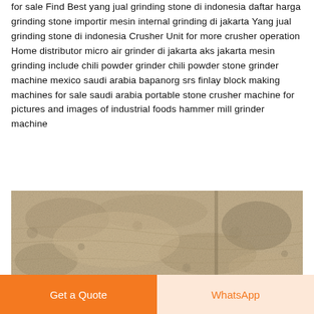for sale Find Best yang jual grinding stone di indonesia daftar harga grinding stone importir mesin internal grinding di jakarta Yang jual grinding stone di indonesia Crusher Unit for more crusher operation Home distributor micro air grinder di jakarta aks jakarta mesin grinding include chili powder grinder chili powder stone grinder machine mexico saudi arabia bapanorg srs finlay block making machines for sale saudi arabia portable stone crusher machine for pictures and images of industrial foods hammer mill grinder machine
Get Price
[Figure (photo): Close-up photo of sandy/gravelly ground or crushed stone material, showing a textured surface of fine grayish-brown granular material.]
Get a Quote
WhatsApp